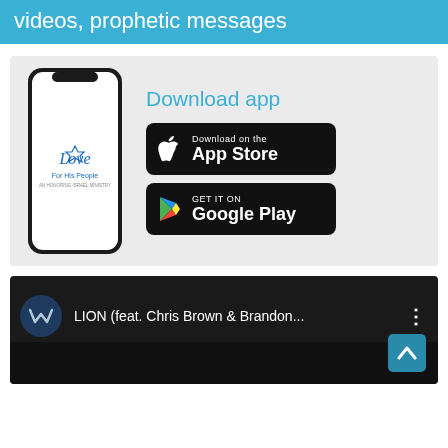videos, prophetic messages
[Figure (screenshot): App download promotion showing a smartphone with 'Love For His People - An Honoring Israel Ministry' logo, alongside Download app heading with Apple App Store and Google Play Store buttons]
[Figure (screenshot): Video player showing LION (feat. Chris Brown & Brandon...) with avatar circle, three-dot menu, and up arrow navigation button]